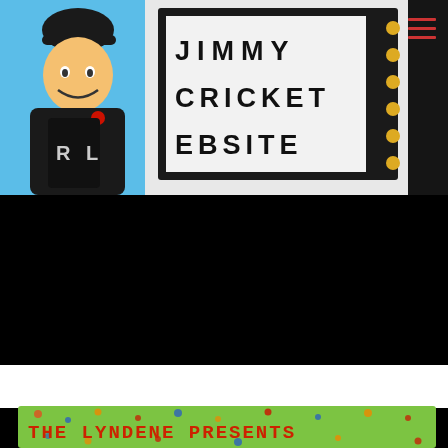[Figure (photo): Jimmy Cricket comedian holding boots with R and L labels, standing next to a marquee sign reading 'JIMMY CRICKET WEBSITE', blue background, dark figure on right edge, hamburger menu icon visible]
[Figure (photo): Black section below the main photo, appearing to be a video or dark content area]
[Figure (illustration): Green banner with polka dots reading 'THE LYNDENE PRESENTS' in red retro font at the bottom of the page]